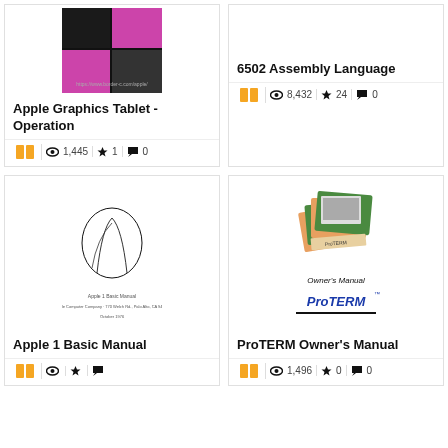[Figure (screenshot): Apple Graphics Tablet - Operation book cover thumbnail with pink and black graphic design]
Apple Graphics Tablet - Operation
1,445 views, 1 favorite, 0 comments
[Figure (screenshot): 6502 Assembly Language book stats: 8,432 views, 24 favorites, 0 comments]
6502 Assembly Language
8,432 views, 24 favorites, 0 comments
[Figure (screenshot): Apple 1 Basic Manual book cover thumbnail with black ink hand illustration]
Apple 1 Basic Manual
[Figure (screenshot): ProTERM Owner's Manual cover with orange geometric computer graphic and ProTERM logo]
ProTERM Owner's Manual
1,496 views, 0 favorites, 0 comments